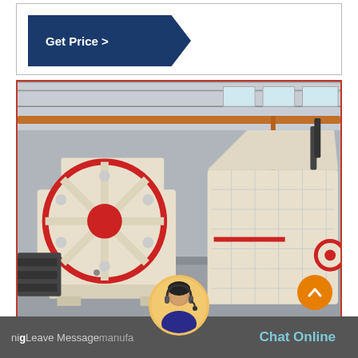[Figure (other): Get Price button with dark blue arrow/chevron shape pointing right]
[Figure (photo): Industrial factory floor showing two large jaw crusher / impact crusher machines in beige/cream color with red accents, inside a large warehouse/factory building]
[Figure (other): Orange circular scroll-to-top button with upward chevron arrow]
[Figure (other): Customer service avatar - woman with headset in circular frame]
nig Leave Message manufa Chat Online